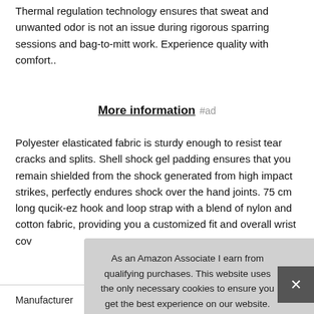Thermal regulation technology ensures that sweat and unwanted odor is not an issue during rigorous sparring sessions and bag-to-mitt work. Experience quality with comfort..
More information #ad
Polyester elasticated fabric is sturdy enough to resist tear cracks and splits. Shell shock gel padding ensures that you remain shielded from the shock generated from high impact strikes, perfectly endures shock over the hand joints. 75 cm long qucik-ez hook and loop strap with a blend of nylon and cotton fabric, providing you a customized fit and overall wrist cov
As an Amazon Associate I earn from qualifying purchases. This website uses the only necessary cookies to ensure you get the best experience on our website. More information
|  |  |
| --- | --- |
| Manufacturer | RBX #ad |